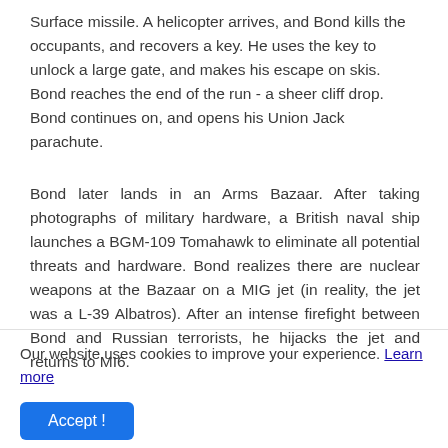Surface missile. A helicopter arrives, and Bond kills the occupants, and recovers a key. He uses the key to unlock a large gate, and makes his escape on skis. Bond reaches the end of the run - a sheer cliff drop. Bond continues on, and opens his Union Jack parachute.
Bond later lands in an Arms Bazaar. After taking photographs of military hardware, a British naval ship launches a BGM-109 Tomahawk to eliminate all potential threats and hardware. Bond realizes there are nuclear weapons at the Bazaar on a MIG jet (in reality, the jet was a L-39 Albatros). After an intense firefight between Bond and Russian terrorists, he hijacks the jet and returns to MI6.
Our website uses cookies to improve your experience. Learn more
Accept !